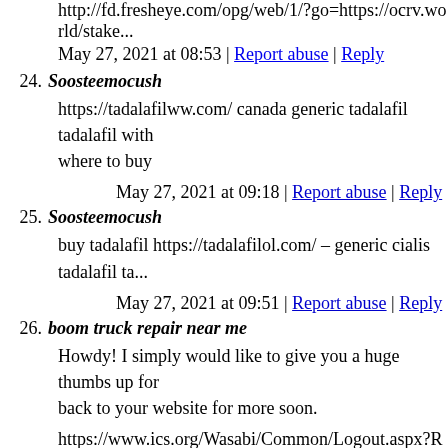http://fd.fresheye.com/opg/web/1/?go=https://ocrv.world/stake...
May 27, 2021 at 08:53 | Report abuse | Reply
24. Soosteemocush
https://tadalafilww.com/ canada generic tadalafil tadalafil with... where to buy
May 27, 2021 at 09:18 | Report abuse | Reply
25. Soosteemocush
buy tadalafil https://tadalafilol.com/ – generic cialis tadalafil ta...
May 27, 2021 at 09:51 | Report abuse | Reply
26. boom truck repair near me
Howdy! I simply would like to give you a huge thumbs up for... back to your website for more soon.
https://www.ics.org/Wasabi/Common/Logout.aspx?Returnurl=...
May 27, 2021 at 09:52 | Report abuse | Reply
27. pertandingan sepak bola
Hi there! This post couldn't be written any better! Reading this post reminds me of my old room ...! He always kept chatting about this...